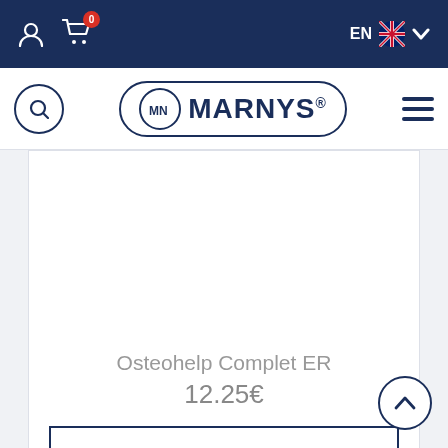EN | Cart (0) | User icon | Menu
[Figure (logo): Marnys brand logo with MN circular emblem inside a rounded rectangle border]
Osteohelp Complet ER
12.25€
Add to basket